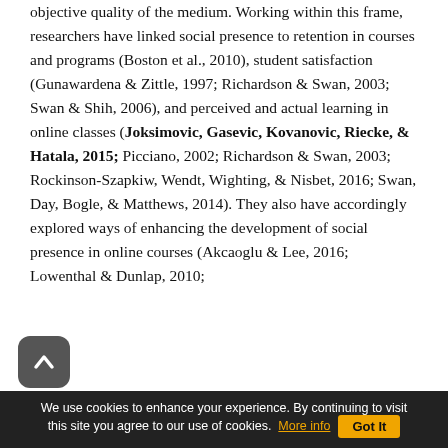objective quality of the medium. Working within this frame, researchers have linked social presence to retention in courses and programs (Boston et al., 2010), student satisfaction (Gunawardena & Zittle, 1997; Richardson & Swan, 2003; Swan & Shih, 2006), and perceived and actual learning in online classes (Joksimovic, Gasevic, Kovanovic, Riecke, & Hatala, 2015; Picciano, 2002; Richardson & Swan, 2003; Rockinson-Szapkiw, Wendt, Wighting, & Nisbet, 2016; Swan, Day, Bogle, & Matthews, 2014). They also have accordingly explored ways of enhancing the development of social presence in online courses (Akcaoglu & Lee, 2016; Lowenthal & Dunlap, 2010;
We use cookies to enhance your experience. By continuing to visit this site you agree to our use of cookies. More info  Got It